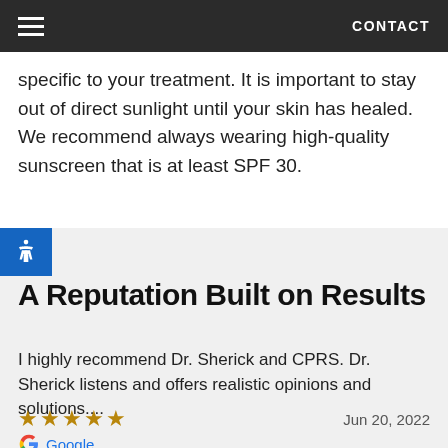CONTACT
specific to your treatment. It is important to stay out of direct sunlight until your skin has healed. We recommend always wearing high-quality sunscreen that is at least SPF 30.
A Reputation Built on Results
I highly recommend Dr. Sherick and CPRS. Dr. Sherick listens and offers realistic opinions and solutions....
★★★★★  Jun 20, 2022
Google